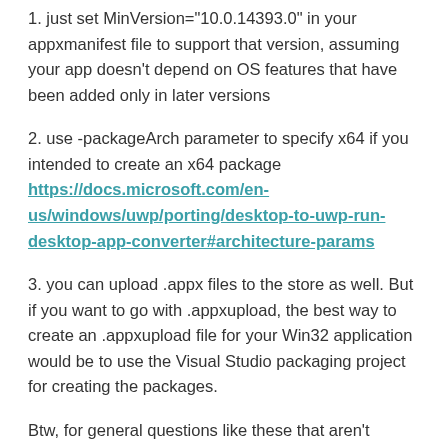1. just set MinVersion="10.0.14393.0" in your appxmanifest file to support that version, assuming your app doesn't depend on OS features that have been added only in later versions
2. use -packageArch parameter to specify x64 if you intended to create an x64 package https://docs.microsoft.com/en-us/windows/uwp/porting/desktop-to-uwp-run-desktop-app-converter#architecture-params
3. you can upload .appx files to the store as well. But if you want to go with .appxupload, the best way to create an .appxupload file for your Win32 application would be to use the Visual Studio packaging project for creating the packages.
Btw, for general questions like these that aren't directly related to the blog post, I recommend using